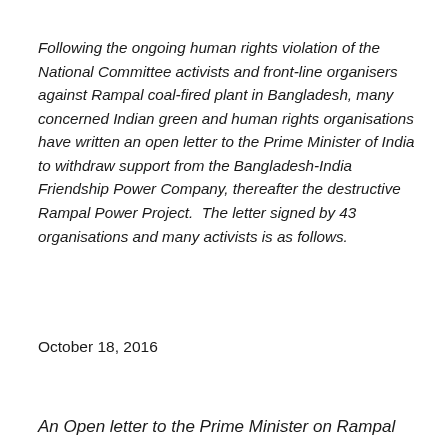Following the ongoing human rights violation of the National Committee activists and front-line organisers against Rampal coal-fired plant in Bangladesh, many concerned Indian green and human rights organisations have written an open letter to the Prime Minister of India to withdraw support from the Bangladesh-India Friendship Power Company, thereafter the destructive Rampal Power Project.  The letter signed by 43 organisations and many activists is as follows.
October 18, 2016
An Open letter to the Prime Minister on Rampal...